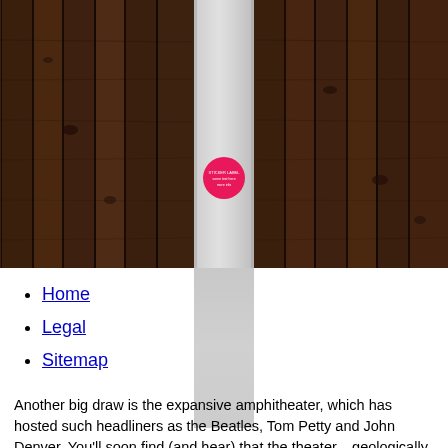[Figure (photo): A dark wood plank wall background with a vertical light grey/silver strip running from top to bottom of the image. A pink circular sticker is affixed to the strip in the middle of the image.]
Home
Legal
Sitemap
Another big draw is the expansive amphitheater, which has hosted such headliners as the Beatles, Tom Petty and John Denver. You'll soon find (and hear) that the theater... geologically formed by the red rocks...